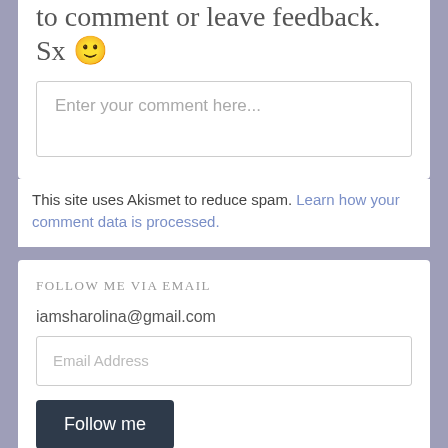to comment or leave feedback. Sx 🙂
Enter your comment here...
This site uses Akismet to reduce spam. Learn how your comment data is processed.
FOLLOW ME VIA EMAIL
iamsharolina@gmail.com
Email Address
Follow me
Join 337 other subscribers.